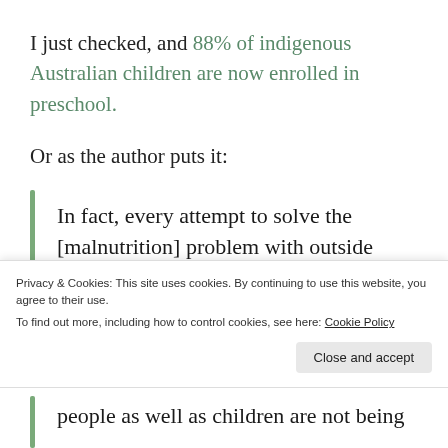I just checked, and 88% of indigenous Australian children are now enrolled in preschool.
Or as the author puts it:
In fact, every attempt to solve the [malnutrition] problem with outside ideas has sent the malnutrition rates
Privacy & Cookies: This site uses cookies. By continuing to use this website, you agree to their use.
To find out more, including how to control cookies, see here: Cookie Policy
people as well as children are not being